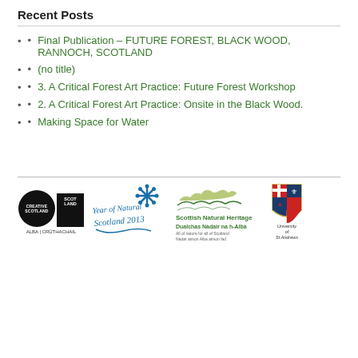Recent Posts
Final Publication – FUTURE FOREST, BLACK WOOD, RANNOCH, SCOTLAND
(no title)
3. A Critical Forest Art Practice: Future Forest Workshop
2. A Critical Forest Art Practice: Onsite in the Black Wood.
Making Space for Water
[Figure (logo): Creative Scotland logo (black circle and rectangle, ALBA | CRÙTHACHAIL caption), Year of Natural Scotland 2013 logo, Scottish Natural Heritage / Dualchas Nàdair na h-Alba logo, University of St Andrews shield logo]